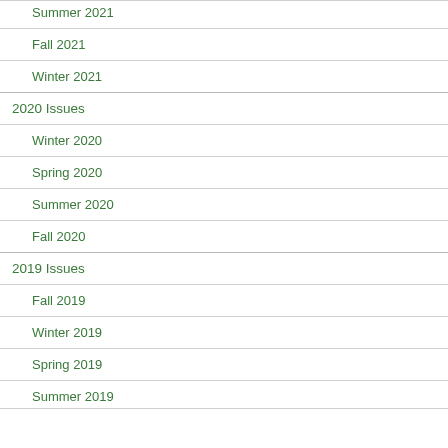Summer 2021
Fall 2021
Winter 2021
2020 Issues
Winter 2020
Spring 2020
Summer 2020
Fall 2020
2019 Issues
Fall 2019
Winter 2019
Spring 2019
Summer 2019